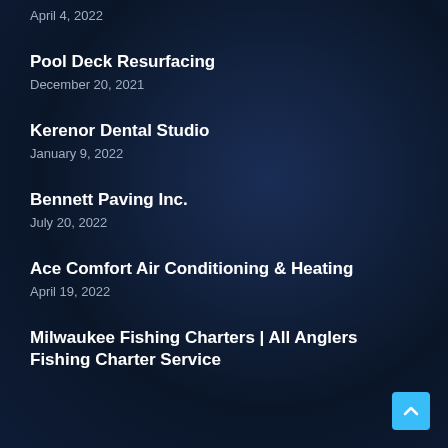April 4, 2022
Pool Deck Resurfacing
December 20, 2021
Kerenor Dental Studio
January 9, 2022
Bennett Paving Inc.
July 20, 2022
Ace Comfort Air Conditioning & Heating
April 19, 2022
Milwaukee Fishing Charters | All Anglers Fishing Charter Service